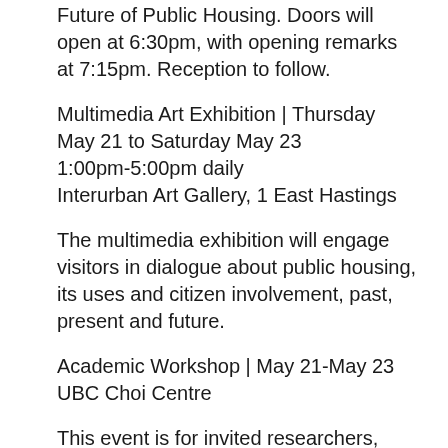Future of Public Housing. Doors will open at 6:30pm, with opening remarks at 7:15pm. Reception to follow.
Multimedia Art Exhibition | Thursday May 21 to Saturday May 23
1:00pm-5:00pm daily
Interurban Art Gallery, 1 East Hastings
The multimedia exhibition will engage visitors in dialogue about public housing, its uses and citizen involvement, past, present and future.
Academic Workshop | May 21-May 23
UBC Choi Centre
This event is for invited researchers, students and a limited number of community members. If you would like to attend, please contact Prajna Rao at j.prajna@gmail.com